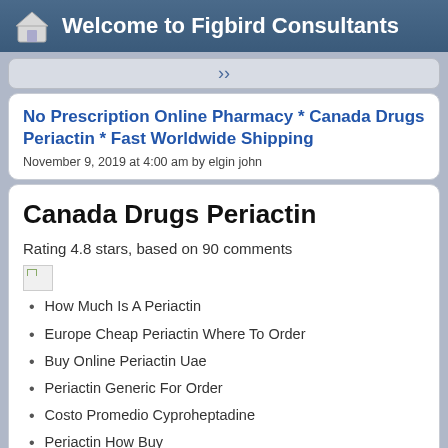Welcome to Figbird Consultants
No Prescription Online Pharmacy * Canada Drugs Periactin * Fast Worldwide Shipping
November 9, 2019 at 4:00 am by elgin john
Canada Drugs Periactin
Rating 4.8 stars, based on 90 comments
How Much Is A Periactin
Europe Cheap Periactin Where To Order
Buy Online Periactin Uae
Periactin Generic For Order
Costo Promedio Cyproheptadine
Periactin How Buy
Best Website To Buy Periactin